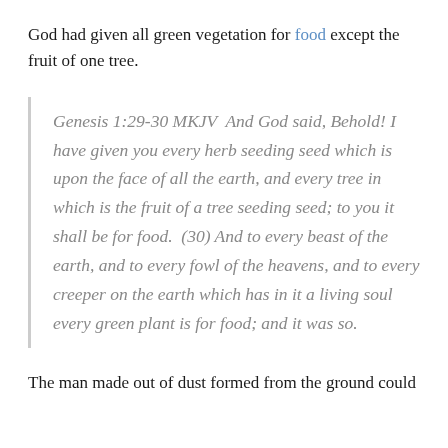God had given all green vegetation for food except the fruit of one tree.
Genesis 1:29-30 MKJV  And God said, Behold! I have given you every herb seeding seed which is upon the face of all the earth, and every tree in which is the fruit of a tree seeding seed; to you it shall be for food.  (30) And to every beast of the earth, and to every fowl of the heavens, and to every creeper on the earth which has in it a living soul every green plant is for food; and it was so.
The man made out of dust formed from the ground could